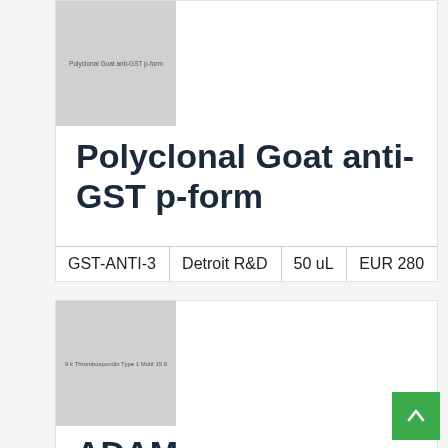[Figure (photo): Product image thumbnail for Polyclonal Goat anti-GST p-form, showing text label 'Polyclonal Goat anti-GST p-form' on grey background]
Polyclonal Goat anti-GST p-form
| GST-ANTI-3 | Detroit R&D | 50 uL | EUR 280 |
| --- | --- | --- | --- |
[Figure (photo): Product image thumbnail for ADAM Metallopeptidase With Thrombospondin Type 1 Motif 6 (ADAMTS6), showing text label on grey background]
ADAM Metallopeptidase With